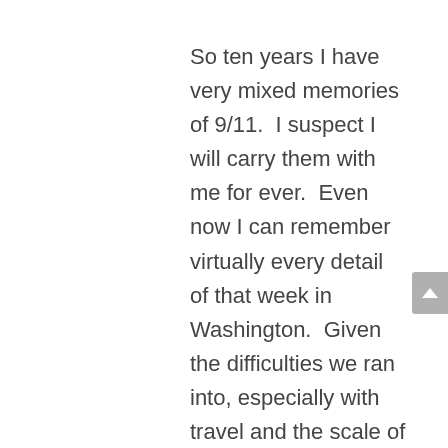So ten years I have very mixed memories of 9/11.  I suspect I will carry them with me for ever.  Even now I can remember virtually every detail of that week in Washington.  Given the difficulties we ran into, especially with travel and the scale of the project as it developed (a feature of intranet projects!) I surprised myself by the determination I had to make it all work despite the terrorist's actions.  I learned a lot about